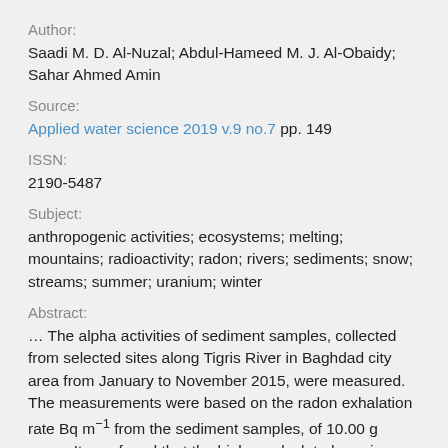Author:
Saadi M. D. Al-Nuzal; Abdul-Hameed M. J. Al-Obaidy; Sahar Ahmed Amin
Source:
Applied water science 2019 v.9 no.7 pp. 149
ISSN:
2190-5487
Subject:
anthropogenic activities; ecosystems; melting; mountains; radioactivity; radon; rivers; sediments; snow; streams; summer; uranium; winter
Abstract:
… The alpha activities of sediment samples, collected from selected sites along Tigris River in Baghdad city area from January to November 2015, were measured. The measurements were based on the radon exhalation rate Bq m−1 from the sediment samples, of 10.00 g mass. It was found that the higher calculated uranium contents were observed during winter months from November to January,